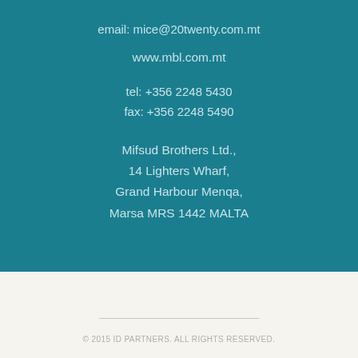email: mice@20twenty.com.mt
www.mbl.com.mt
tel: +356 2248 5430
fax: +356 2248 5490
Mifsud Brothers Ltd.,
14 Lighters Wharf,
Grand Harbour Menqa,
Marsa MRS 1442 MALTA
© 2015 ID PARTNERS. ALL RIGHTS RESERVED.